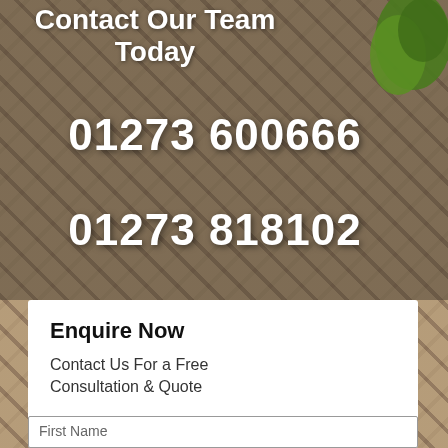[Figure (photo): Herringbone pattern clay brick paving driveway with dark joint lines, green topiary bush in top right corner]
Contact Our Team Today
01273 600666
01273 818102
Enquire Now
Contact Us For a Free Consultation & Quote
First Name